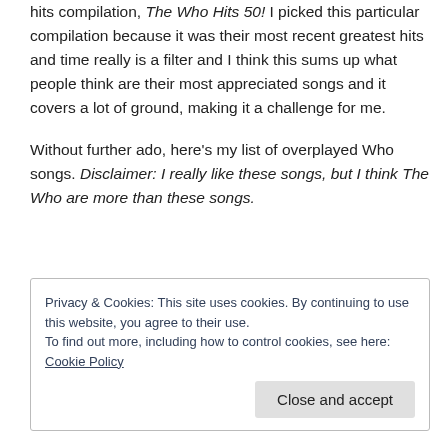hits compilation, The Who Hits 50! I picked this particular compilation because it was their most recent greatest hits and time really is a filter and I think this sums up what people think are their most appreciated songs and it covers a lot of ground, making it a challenge for me.
Without further ado, here’s my list of overplayed Who songs. Disclaimer: I really like these songs, but I think The Who are more than these songs.
Privacy & Cookies: This site uses cookies. By continuing to use this website, you agree to their use.
To find out more, including how to control cookies, see here: Cookie Policy
[Close and accept]